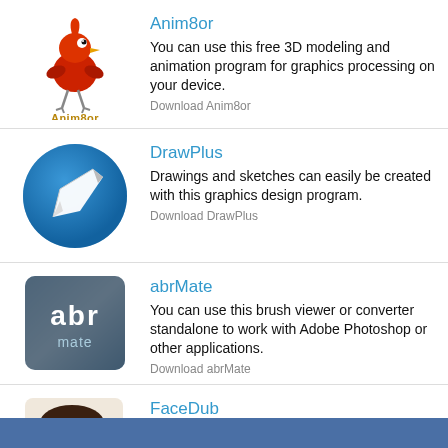[Figure (logo): Anim8or app icon — cartoon red bird character with golden text Anim8or below]
Anim8or
You can use this free 3D modeling and animation program for graphics processing on your device.
Download Anim8or
[Figure (logo): DrawPlus app icon — blue circle with white pencil/arrow graphic]
DrawPlus
Drawings and sketches can easily be created with this graphics design program.
Download DrawPlus
[Figure (logo): abrMate app icon — dark square with 'abr' text and 'mate' below, brushed metal look]
abrMate
You can use this brush viewer or converter standalone to work with Adobe Photoshop or other applications.
Download abrMate
[Figure (logo): FaceDub app icon — stylized face/portrait with pencil graphic]
FaceDub
Bodies and faces can be changed with an app.
Download FaceDub